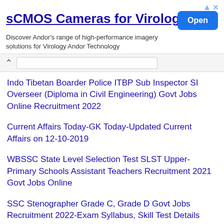[Figure (screenshot): Advertisement banner for sCMOS Cameras for Virology by Andor Technology with an Open button]
Indo Tibetan Boarder Police ITBP Sub Inspector SI Overseer (Diploma in Civil Engineering) Govt Jobs Online Recruitment 2022
Current Affairs Today-GK Today-Updated Current Affairs on 12-10-2019
WBSSC State Level Selection Test SLST Upper-Primary Schools Assistant Teachers Recruitment 2021 Govt Jobs Online
SSC Stenographer Grade C, Grade D Govt Jobs Recruitment 2022-Exam Syllabus, Skill Test Details
SSC New Exam dates 2020-CHSL Tier 1, Junior Engineer Tier 1, Stenographer, Delhi Police SI, CAPF, Hindi